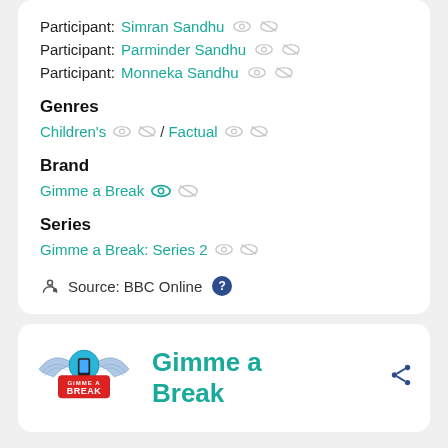Participant: Simran Sandhu
Participant: Parminder Sandhu
Participant: Monneka Sandhu
Genres
Children's / Factual
Brand
Gimme a Break
Series
Gimme a Break: Series 2
Source: BBC Online
[Figure (logo): Gimme a Break logo with wings and red banner]
Gimme a Break